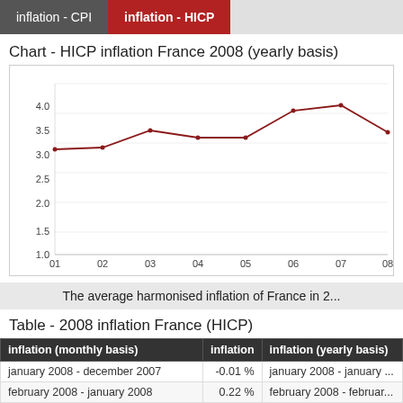inflation - CPI | inflation - HICP
Chart - HICP inflation France 2008 (yearly basis)
[Figure (line-chart): HICP inflation France 2008 (yearly basis)]
The average harmonised inflation of France in 2...
Table - 2008 inflation France (HICP)
| inflation (monthly basis) | inflation | inflation (yearly basis) |
| --- | --- | --- |
| january 2008 - december 2007 | -0.01 % | january 2008 - january ... |
| february 2008 - january 2008 | 0.22 % | february 2008 - februar... |
| march 2008 - february 2008 | 0.80 % | march 2008 - march 20... |
| april 2008 - march 2008 | 0.38 % | april 2008 - april 2007 |
| may 2008 - april 2008 | 0.57 % | may 2008 - may 200... |